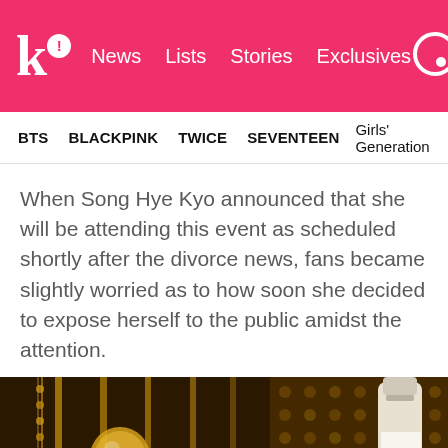k! News Lists Stories Exclusives
BTS   BLACKPINK   TWICE   SEVENTEEN   Girls' Generation
When Song Hye Kyo announced that she will be attending this event as scheduled shortly after the divorce news, fans became slightly worried as to how soon she decided to expose herself to the public amidst the attention.
[Figure (photo): Photo of Song Hye Kyo at an event, with decorative gold ball ornaments and a luxury product bottle in the background, dark warm-toned interior setting]